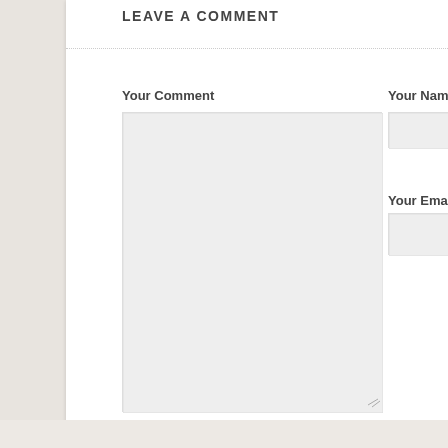LEAVE A COMMENT
Your Comment
[Figure (screenshot): Comment form textarea input field (large, light gray background)]
Your Nam
[Figure (screenshot): Name input field (small, light gray background)]
Your Ema
[Figure (screenshot): Email input field (small, light gray background)]
Submit Comment